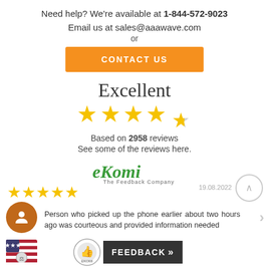Need help? We're available at 1-844-572-9023
Email us at sales@aaawave.com
or
CONTACT US
Excellent
[Figure (infographic): Five yellow stars rating (4.5 out of 5)]
Based on 2958 reviews
See some of the reviews here.
[Figure (logo): eKomi - The Feedback Company logo]
[Figure (infographic): Five yellow stars (full 5 out of 5) for a customer review]
19.08.2022
Person who picked up the phone earlier about two hours ago was courteous and provided information needed
[Figure (logo): US flag badge icon]
[Figure (logo): eKomi certified feedback seal and FEEDBACK >> button]